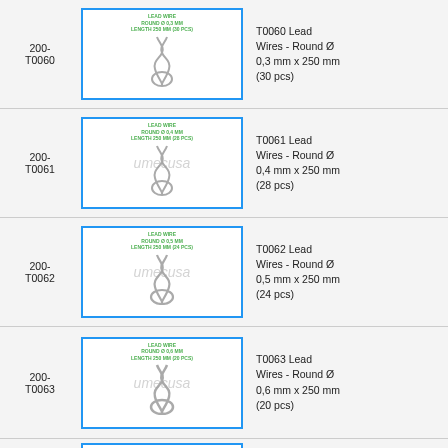| Part No. | Image | Description |
| --- | --- | --- |
| 200-T0060 | [Lead Wire image] | T0060 Lead Wires - Round Ø 0,3 mm x 250 mm (30 pcs) |
| 200-T0061 | [Lead Wire image] | T0061 Lead Wires - Round Ø 0,4 mm x 250 mm (28 pcs) |
| 200-T0062 | [Lead Wire image] | T0062 Lead Wires - Round Ø 0,5 mm x 250 mm (24 pcs) |
| 200-T0063 | [Lead Wire image] | T0063 Lead Wires - Round Ø 0,6 mm x 250 mm (20 pcs) |
| 200-T0064 | [Lead Wire image - partial] |  |